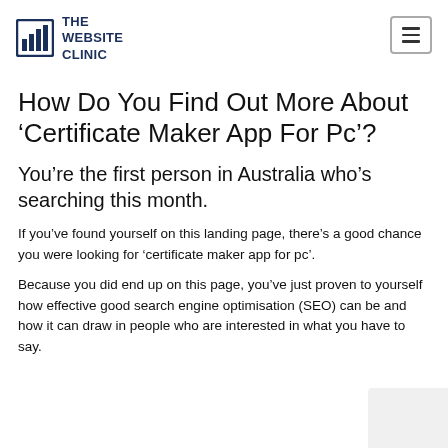THE WEBSITE CLINIC
How Do You Find Out More About ‘Certificate Maker App For Pc’?
You’re the first person in Australia who’s searching this month.
If you’ve found yourself on this landing page, there’s a good chance you were looking for ‘certificate maker app for pc’.
Because you did end up on this page, you’ve just proven to yourself how effective good search engine optimisation (SEO) can be and how it can draw in people who are interested in what you have to say.